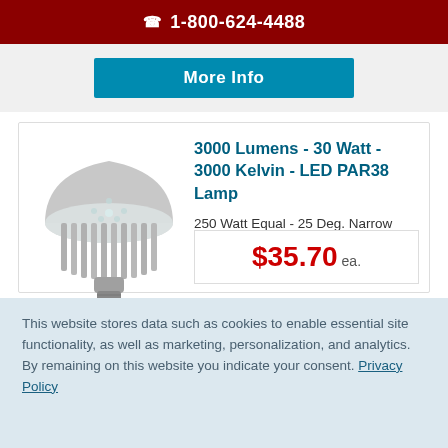☎ 1-800-624-4488
More Info
[Figure (photo): LED PAR38 lamp bulb product photo with silver heat sink fins and standard screw base]
TCP-10549
3000 Lumens - 30 Watt - 3000 Kelvin - LED PAR38 Lamp
250 Watt Equal - 25 Deg. Narrow Flood - Dimmable - 120 Volt - TCP L30P38D2530KNFL
$35.70 ea.
This website stores data such as cookies to enable essential site functionality, as well as marketing, personalization, and analytics. By remaining on this website you indicate your consent. Privacy Policy